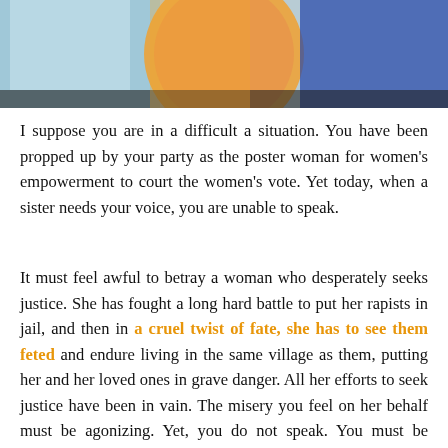[Figure (photo): Partial photograph showing people, cropped at top of page]
I suppose you are in a difficult a situation. You have been propped up by your party as the poster woman for women's empowerment to court the women's vote. Yet today, when a sister needs your voice, you are unable to speak.
It must feel awful to betray a woman who desperately seeks justice. She has fought a long hard battle to put her rapists in jail, and then in a cruel twist of fate, she has to see them feted and endure living in the same village as them, putting her and her loved ones in grave danger. All her efforts to seek justice have been in vain. The misery you feel on her behalf must be agonizing. Yet, you do not speak. You must be looking at this widely publicized photograph and